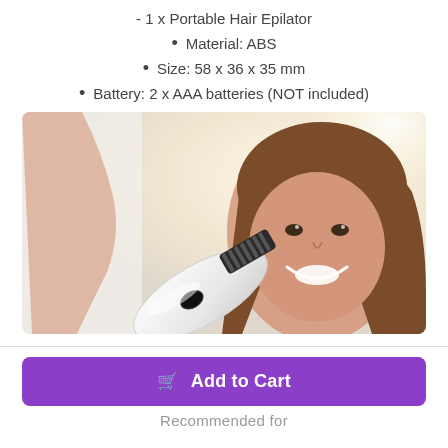- 1 x Portable Hair Epilator
Material: ABS
Size: 58 x 36 x 35 mm
Battery: 2 x AAA batteries (NOT included)
[Figure (photo): A white portable hair epilator device held up by a woman smiling in bright sunlight, with the epilator prominent in the foreground.]
Add to Cart
Recommended for